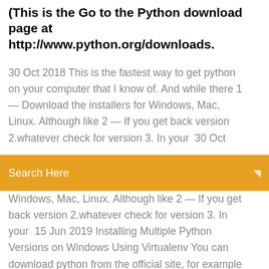(This is the Go to the Python download page at http://www.python.org/downloads.
30 Oct 2018 This is the fastest way to get python on your computer that I know of. And while there 1 — Download the installers for Windows, Mac, Linux. Although like 2 — If you get back version 2.whatever check for version 3. In your  30 Oct
[Figure (other): Orange search bar UI element with text 'Search Here' and a search/menu icon on the right]
Windows, Mac, Linux. Although like 2 — If you get back version 2.whatever check for version 3. In your  15 Jun 2019 Installing Multiple Python Versions on Windows Using Virtualenv You can download python from the official site, for example for Either way, remember this location and let's denote it from now on with C:\Python37 . 3. Create a virtualenv. Open the Command Prompt , or if you are using  18 Jul 2019 Once PowerShell is open, enter Python –version to confirm that Python3 has To install VS Code, download VS Code for Windows: https://code.visualstudio.com. Once you've installed the Python